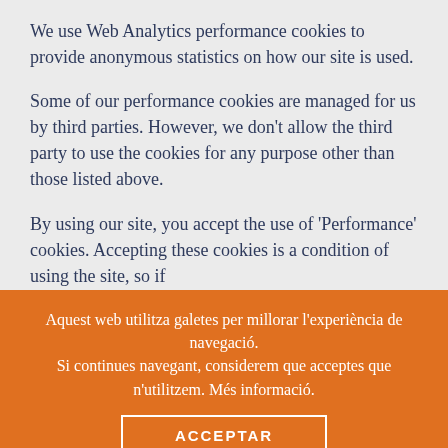We use Web Analytics performance cookies to provide anonymous statistics on how our site is used.
Some of our performance cookies are managed for us by third parties. However, we don't allow the third party to use the cookies for any purpose other than those listed above.
By using our site, you accept the use of 'Performance' cookies. Accepting these cookies is a condition of using the site, so if
Aquest web utilitza galetes per millorar l'experiència de navegació.
Si continues navegant, considerem que acceptes que n'utilitzem. Més informació.
ACCEPTAR